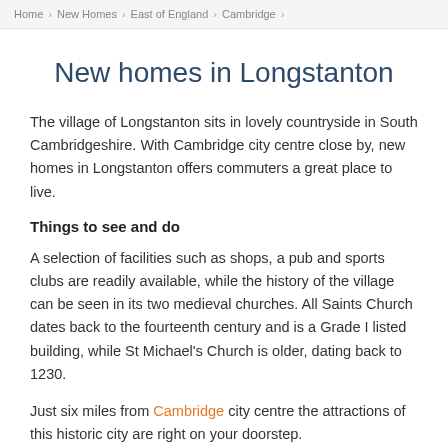Home > New Homes > East of England > Cambridge >
New homes in Longstanton
The village of Longstanton sits in lovely countryside in South Cambridgeshire. With Cambridge city centre close by, new homes in Longstanton offers commuters a great place to live.
Things to see and do
A selection of facilities such as shops, a pub and sports clubs are readily available, while the history of the village can be seen in its two medieval churches. All Saints Church dates back to the fourteenth century and is a Grade I listed building, while St Michael's Church is older, dating back to 1230.
Just six miles from Cambridge city centre the attractions of this historic city are right on your doorstep.